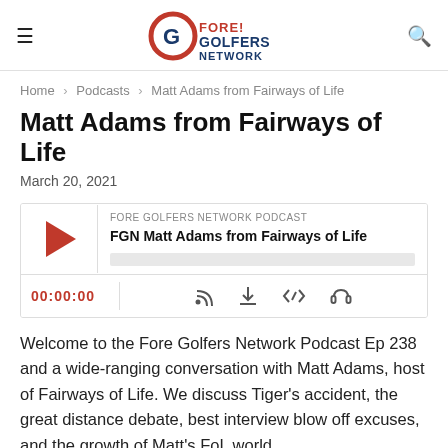Fore Golfers Network
Home > Podcasts > Matt Adams from Fairways of Life
Matt Adams from Fairways of Life
March 20, 2021
[Figure (screenshot): Podcast player widget showing 'FORE GOLFERS NETWORK PODCAST' label, title 'FGN Matt Adams from Fairways of Life', play button, progress bar, time 00:00:00, and controls for subscribe, download, embed, and share.]
Welcome to the Fore Golfers Network Podcast Ep 238 and a wide-ranging conversation with Matt Adams, host of Fairways of Life. We discuss Tiger's accident, the great distance debate, best interview blow off excuses, and the growth of Matt's FoL world.